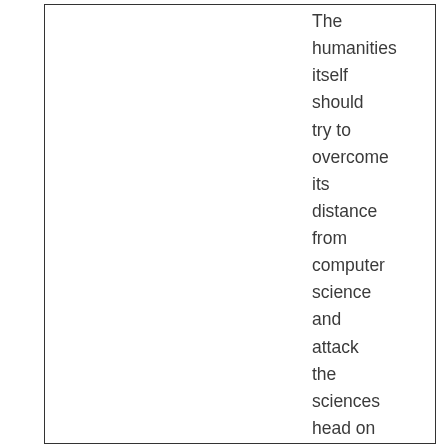The humanities itself should try to overcome its distance from computer science and attack the sciences head on for its privileged position in terms of funding. Digital Humanities maintains to be working